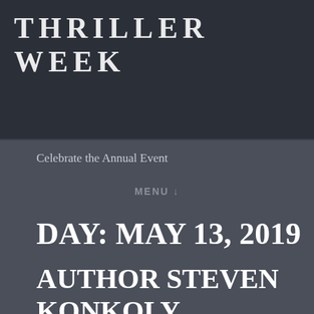[Figure (screenshot): Dark banner image with large bold white serif text reading 'THRILLER WEEK' in uppercase with letter spacing, on a dark charcoal background]
Celebrate the Annual Event
MENU ↓
DAY: MAY 13, 2019
AUTHOR STEVEN KONKOLY DISCUSSES